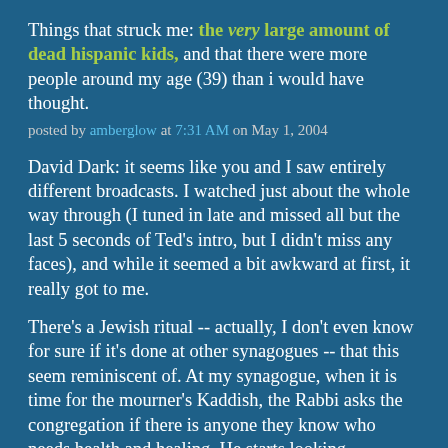Things that struck me: the very large amount of dead hispanic kids, and that there were more people around my age (39) than i would have thought.
posted by amberglow at 7:31 AM on May 1, 2004
David Dark: it seems like you and I saw entirely different broadcasts. I watched just about the whole way through (I tuned in late and missed all but the last 5 seconds of Ted's intro, but I didn't miss any faces), and while it seemed a bit awkward at first, it really got to me.
There's a Jewish ritual -- actually, I don't even know for sure if it's done at other synagogues -- that this seem reminiscent of. At my synagogue, when it is time for the mourner's Kaddish, the Rabbi asks the congregation if there is anyone they know who needs health and healing. He starts looking